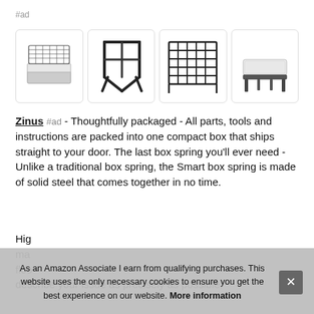#ad
[Figure (photo): Four product thumbnail images of a Zinus Smart Box Spring: 1) box spring with mattress diagram, 2) close-up of metal frame corner, 3) metal frame grid top view, 4) assembled box spring with mattress on legs]
Zinus #ad - Thoughtfully packaged - All parts, tools and instructions are packed into one compact box that ships straight to your door. The last box spring you'll ever need - Unlike a traditional box spring, the Smart box spring is made of solid steel that comes together in no time.
High... mat... floo... describe your issue as precisely as possible.
As an Amazon Associate I earn from qualifying purchases. This website uses the only necessary cookies to ensure you get the best experience on our website. More information